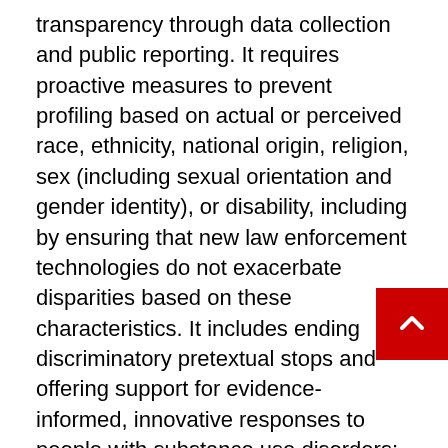transparency through data collection and public reporting. It requires proactive measures to prevent profiling based on actual or perceived race, ethnicity, national origin, religion, sex (including sexual orientation and gender identity), or disability, including by ensuring that new law enforcement technologies do not exacerbate disparities based on these characteristics. It includes ending discriminatory pretextual stops and offering support for evidence-informed, innovative responses to people with substance use disorders; people with mental health needs; veterans; people with disabilities; vulnerable youth; people who are victims of domestic violence, sexual assault, or trafficking; and people experiencing homelessness or living in poverty. It calls for improving and clarifying standards for police activities such as the execution of search warrants and the use of force.
Many law enforcement agencies across the country —